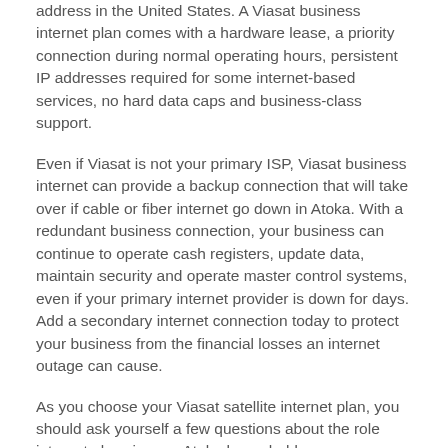address in the United States. A Viasat business internet plan comes with a hardware lease, a priority connection during normal operating hours, persistent IP addresses required for some internet-based services, no hard data caps and business-class support.
Even if Viasat is not your primary ISP, Viasat business internet can provide a backup connection that will take over if cable or fiber internet go down in Atoka. With a redundant business connection, your business can continue to operate cash registers, update data, maintain security and operate master control systems, even if your primary internet provider is down for days. Add a secondary internet connection today to protect your business from the financial losses an internet outage can cause.
As you choose your Viasat satellite internet plan, you should ask yourself a few questions about the role internet plays in your Atoka household: